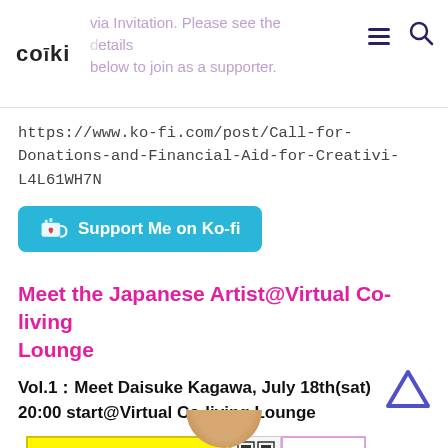coīki  via Invitation. Please see the details below to join as a supporter.
https://www.ko-fi.com/post/Call-for-Donations-and-Financial-Aid-for-Creativi-L4L61WH7N
[Figure (other): Support Me on Ko-fi button in cyan/blue color with coffee cup icon]
Meet the Japanese Artist@Virtual Co-living Lounge
Vol.1：Meet Daisuke Kagawa, July 18th(sat) 20:00 start@Virtual Co-living Lounge
[Figure (infographic): Event banner showing: yellow box 'Private Gathering July 18th 20:00- for participating creators and supporters', QR code, 'Join by donation!' text, and magenta bar 'Meet the Japanese Artist vol.1@Virtual Co-living Lounge']